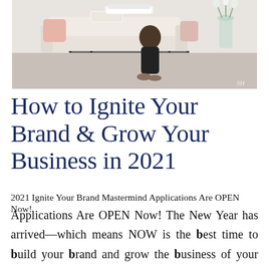[Figure (photo): A woman sitting on a white sofa in a modern living room with a glass coffee table, books on the table, and flowers in the background. Watermark 'SH' in bottom right corner.]
How to Ignite Your Brand & Grow Your Business in 2021
2021 Ignite Your Brand Mastermind Applications Are OPEN Now! The New Year has arrived—which means NOW is the best time to build your brand and grow the business of your dreams. That said
Applications Are OPEN Now! The New Year has arrived—which means NOW is the best time to build your brand and grow the business of your dreams. That said